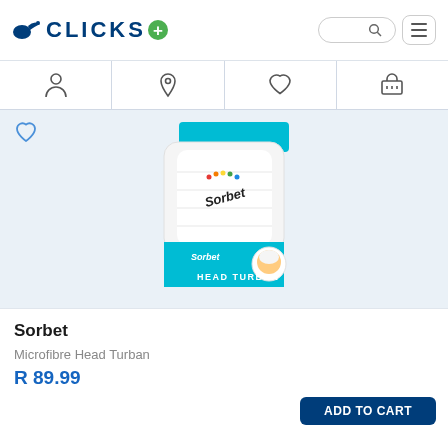[Figure (logo): Clicks pharmacy logo with bird icon and green plus sign]
[Figure (screenshot): Navigation icons bar with person/account, location pin, heart/wishlist, and shopping cart icons]
[Figure (photo): Sorbet Microfibre Head Turban product image - white folded head turban with Sorbet branding and packaging box showing HEAD TURBAN text on teal background]
Sorbet
Microfibre Head Turban
R 89.99